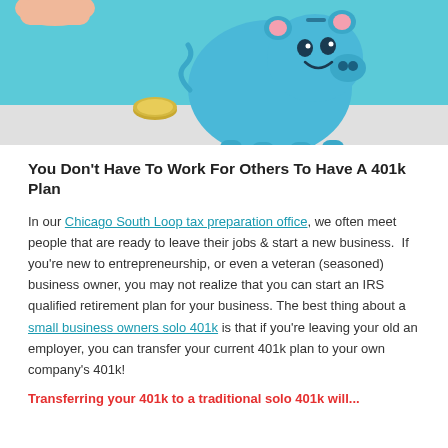[Figure (photo): Photo of a blue smiling piggy bank with a coin in front of it on a light surface, with a teal/blue background. A hand is partially visible at the top left.]
You Don’t Have To Work For Others To Have A 401k Plan
In our Chicago South Loop tax preparation office, we often meet people that are ready to leave their jobs & start a new business.  If you’re new to entrepreneurship, or even a veteran (seasoned) business owner, you may not realize that you can start an IRS qualified retirement plan for your business. The best thing about a small business owners solo 401k is that if you’re leaving your old an employer, you can transfer your current 401k plan to your own company’s 401k!
Transferring your 401k to a traditional solo 401k will...